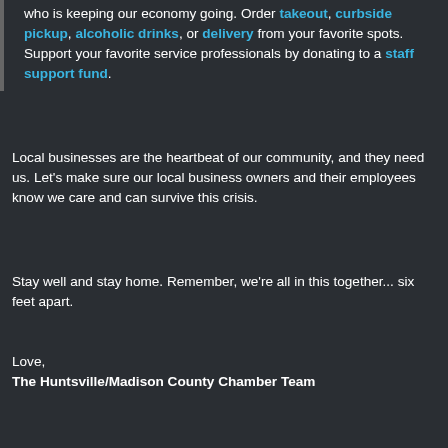who is keeping our economy going. Order takeout, curbside pickup, alcoholic drinks, or delivery from your favorite spots. Support your favorite service professionals by donating to a staff support fund.
Local businesses are the heartbeat of our community, and they need us. Let's make sure our local business owners and their employees know we care and can survive this crisis.
Stay well and stay home. Remember, we're all in this together... six feet apart.
Love,
The Huntsville/Madison County Chamber Team